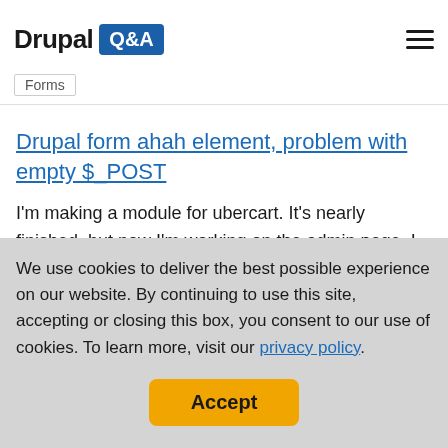Drupal Q&A
Forms
Drupal form ahah element, problem with empty $_POST
I'm making a module for ubercart. It's nearly finished, but now I'm working on the admin page. I want the admin to be able to add options, like the poll module adds choices. The problem I have is that the admin form is generated through
We use cookies to deliver the best possible experience on our website. By continuing to use this site, accepting or closing this box, you consent to our use of cookies. To learn more, visit our privacy policy.
Accept